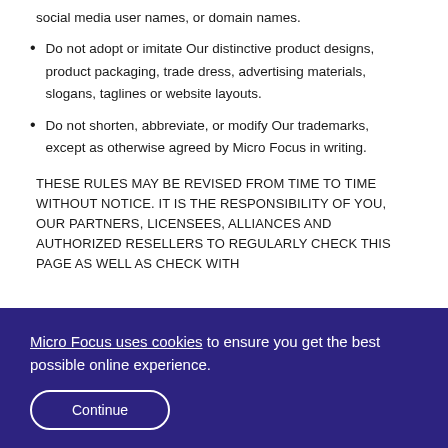social media user names, or domain names.
Do not adopt or imitate Our distinctive product designs, product packaging, trade dress, advertising materials, slogans, taglines or website layouts.
Do not shorten, abbreviate, or modify Our trademarks, except as otherwise agreed by Micro Focus in writing.
THESE RULES MAY BE REVISED FROM TIME TO TIME WITHOUT NOTICE. IT IS THE RESPONSIBILITY OF YOU, OUR PARTNERS, LICENSEES, ALLIANCES AND AUTHORIZED RESELLERS TO REGULARLY CHECK THIS PAGE AS WELL AS CHECK WITH
Micro Focus uses cookies to ensure you get the best possible online experience.
Continue